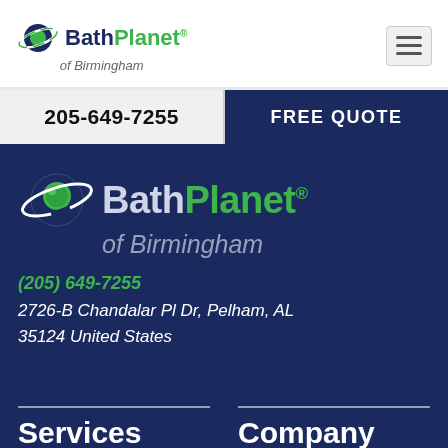Bath Planet of Birmingham
205-649-7255
FREE QUOTE
[Figure (logo): Bath Planet of Birmingham logo — large version on dark navy background, with planet icon, 'Bath' in light color, 'Planet' in green, and 'of Birmingham' in gray italic below]
(205) 649-7255
2726-B Chandalar Pl Dr, Pelham, AL
35124 United States
Services
Company